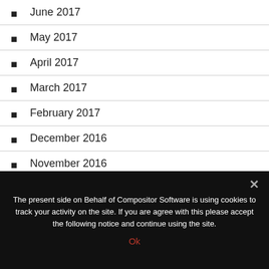June 2017
May 2017
April 2017
March 2017
February 2017
December 2016
November 2016
September 2016
June 2016
The present side on Behalf of Compositor Software is using cookies to track your activity on the site. If you are agree with this please accept the following notice and continue using the site.
Ok